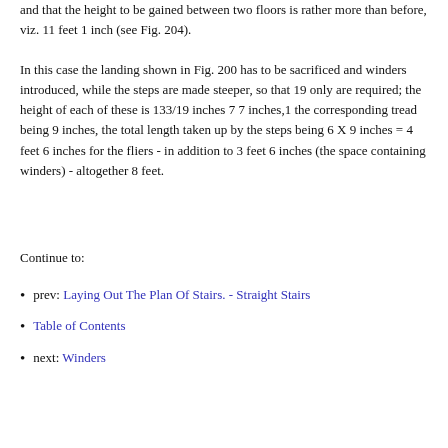and that the height to be gained between two floors is rather more than before, viz. 11 feet 1 inch (see Fig. 204).
In this case the landing shown in Fig. 200 has to be sacrificed and winders introduced, while the steps are made steeper, so that 19 only are required; the height of each of these is 133/19 inches 7 7 inches,1 the corresponding tread being 9 inches, the total length taken up by the steps being 6 X 9 inches = 4 feet 6 inches for the fliers - in addition to 3 feet 6 inches (the space containing winders) - altogether 8 feet.
Continue to:
prev: Laying Out The Plan Of Stairs. - Straight Stairs
Table of Contents
next: Winders